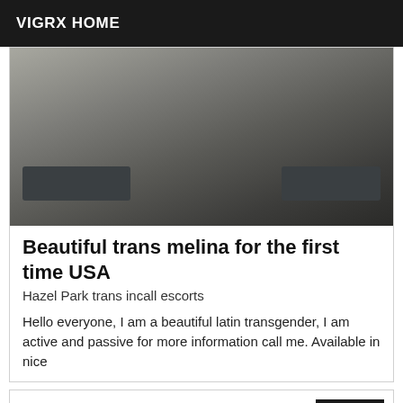VIGRX HOME
[Figure (photo): Close-up photo showing a person wearing dark lace underwear and dark thigh-high stockings with wide bands at the top.]
Beautiful trans melina for the first time USA
Hazel Park trans incall escorts
Hello everyone, I am a beautiful latin transgender, I am active and passive for more information call me. Available in nice
Verified